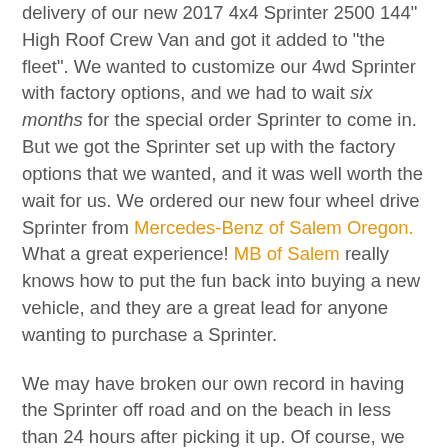delivery of our new 2017 4x4 Sprinter 2500 144" High Roof Crew Van and got it added to "the fleet". We wanted to customize our 4wd Sprinter with factory options, and we had to wait six months for the special order Sprinter to come in. But we got the Sprinter set up with the factory options that we wanted, and it was well worth the wait for us. We ordered our new four wheel drive Sprinter from Mercedes-Benz of Salem Oregon. What a great experience! MB of Salem really knows how to put the fun back into buying a new vehicle, and they are a great lead for anyone wanting to purchase a Sprinter.
We may have broken our own record in having the Sprinter off road and on the beach in less than 24 hours after picking it up. Of course, we were gentle on it for the break in. You don't get many clear 65 degree days on the Oregon beach on a weekend in January, so we took advantage of it. Strangely enough there was a mostly